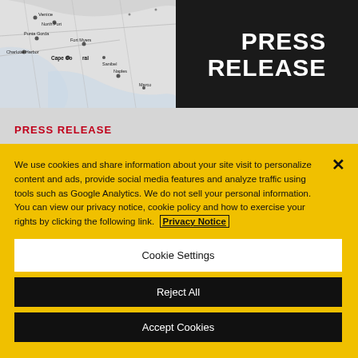[Figure (map): Partial map of Southwest Florida coastline showing Venice, North Port, Punta Gorda, Charlotte Harbor, Fort Myers, Cape Coral, Sanibel, Naples, and Marco Island locations]
PRESS RELEASE
PRESS RELEASE
We use cookies and share information about your site visit to personalize content and ads, provide social media features and analyze traffic using tools such as Google Analytics. We do not sell your personal information. You can view our privacy notice, cookie policy and how to exercise your rights by clicking the following link. Privacy Notice
Cookie Settings
Reject All
Accept Cookies